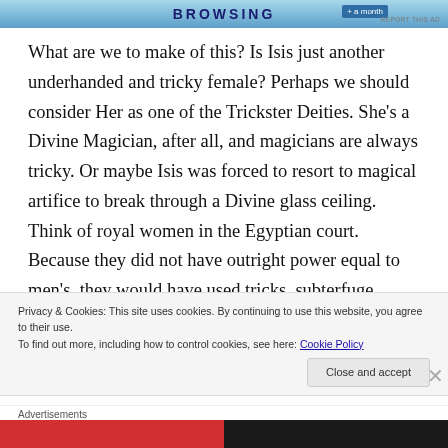[Figure (other): Advertisement banner with 'BROWSING' text and gradient blue background, with a button and 'REPORT THIS AD' link]
What are we to make of this? Is Isis just another underhanded and tricky female? Perhaps we should consider Her as one of the Trickster Deities. She's a Divine Magician, after all, and magicians are always tricky. Or maybe Isis was forced to resort to magical artifice to break through a Divine glass ceiling. Think of royal women in the Egyptian court. Because they did not have outright power equal to men's, they would have used tricks, subterfuge, perhaps even poison, as a path to power. We must remember that it is always
Privacy & Cookies: This site uses cookies. By continuing to use this website, you agree to their use.
To find out more, including how to control cookies, see here: Cookie Policy
Close and accept
Advertisements